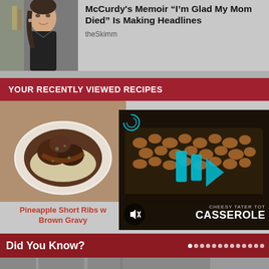[Figure (photo): Woman smiling at event, dark blazer, partial background with signage]
McCurdy's Memoir “I'm Glad My Mom Died” Is Making Headlines
theSkimm
YOUR RECENTLY VIEWED RECIPES
[Figure (photo): Bowl of Pineapple Short Ribs with Brown Gravy over rice]
Pineapple Short Ribs w Brown Gravy
[Figure (screenshot): Video player overlay showing play button and Cheesy Tater Tot Casserole dish with mute button]
Did You Know?
[Figure (photo): Bottom strip image partially visible]